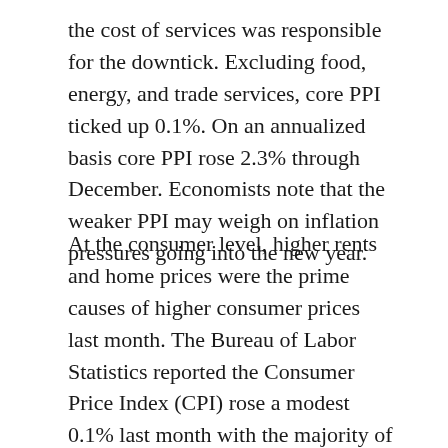the cost of services was responsible for the downtick. Excluding food, energy, and trade services, core PPI ticked up 0.1%. On an annualized basis core PPI rose 2.3% through December. Economists note that the weaker PPI may weigh on inflation pressures going into the new year.
At the consumer level, higher rents and home prices were the prime causes of higher consumer prices last month. The Bureau of Labor Statistics reported the Consumer Price Index (CPI) rose a modest 0.1% last month with the majority of the increase due to the higher cost of housing. Stripping out gas and food, the so-called core rate of inflation rose a much sharper 0.3%–its highest reading in almost a year. The 12-month rate of inflation ticked down -0.1% to 2.1%. Core CPI on